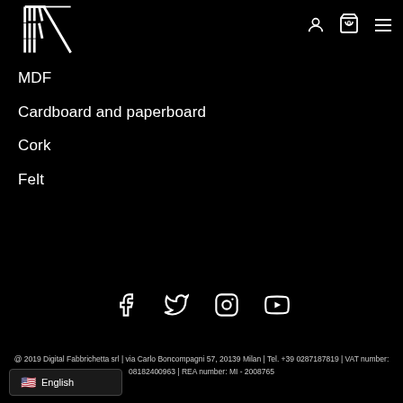Vectororealism – logo and navigation header
MDF
Cardboard and paperboard
Cork
Felt
[Figure (other): Social media icons row: Facebook, Twitter, Instagram, YouTube]
@ 2019 Digital Fabbrichetta srl | via Carlo Boncompagni 57, 20139 Milan | Tel. +39 0287187819 | VAT number: 08182400963 | REA number: MI - 2008765
English